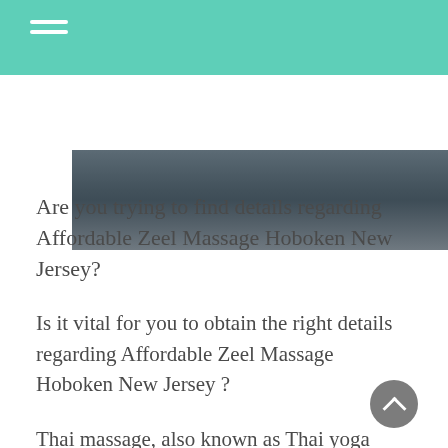[Figure (photo): Outdoor urban/waterfront photo, dark muted tones with cars or dock structures visible]
Are you trying to find details regarding Affordable Zeel Massage Hoboken New Jersey?
Is it vital for you to obtain the right details regarding Affordable Zeel Massage Hoboken New Jersey ?
Thai massage, also known as Thai yoga therapy, is a traditional treatment that blends acupuncture, Indian Ayurvedic practices and stretching exercises that are physical and...